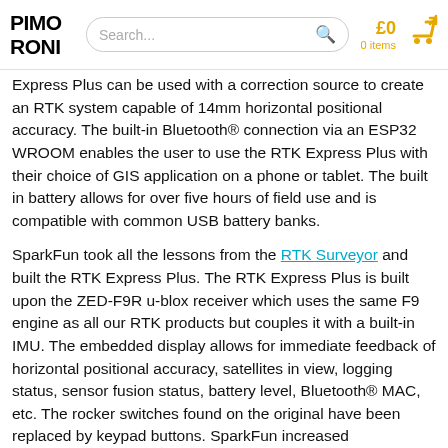PIMORONI | Search... | £0 0 items
Express Plus can be used with a correction source to create an RTK system capable of 14mm horizontal positional accuracy. The built-in Bluetooth® connection via an ESP32 WROOM enables the user to use the RTK Express Plus with their choice of GIS application on a phone or tablet. The built in battery allows for over five hours of field use and is compatible with common USB battery banks.
SparkFun took all the lessons from the RTK Surveyor and built the RTK Express Plus. The RTK Express Plus is built upon the ZED-F9R u-blox receiver which uses the same F9 engine as all our RTK products but couples it with a built-in IMU. The embedded display allows for immediate feedback of horizontal positional accuracy, satellites in view, logging status, sensor fusion status, battery level, Bluetooth® MAC, etc. The rocker switches found on the original have been replaced by keypad buttons. SparkFun increased